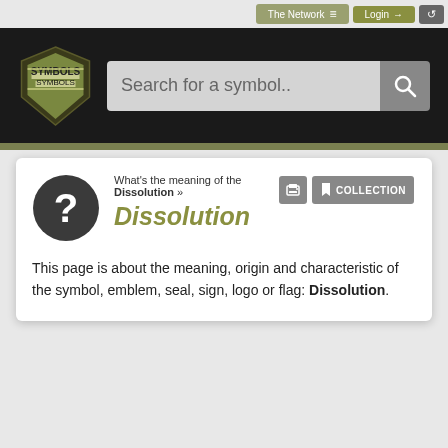The Network ≡   Login →   ↺
[Figure (logo): SYMBOLS shield logo in olive/dark colors on black header bar with search box 'Search for a symbol..']
Dissolution
What's the meaning of the Dissolution »
This page is about the meaning, origin and characteristic of the symbol, emblem, seal, sign, logo or flag: Dissolution.